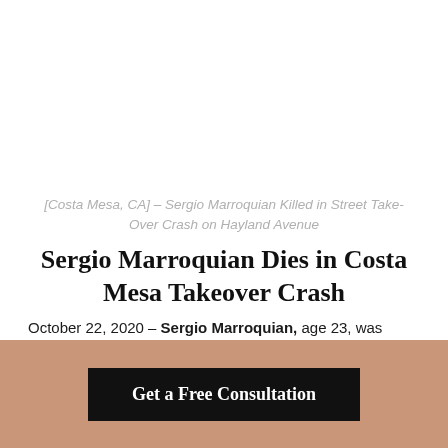[Costa Mesa, CA] – Sergio Marroquian Killed in Street Take-Over Crash on Hayland Avenue
Sergio Marroquian Dies in Costa Mesa Takeover Crash
October 22, 2020 – Sergio Marroquian, age 23, was killed on Thursday morning. This was the result of a takeover crash on Sunflower Avenue and Hyland Avenue.
Sadly, the incident occurred around 2:30 A.M. wherein the
Get a Free Consultation